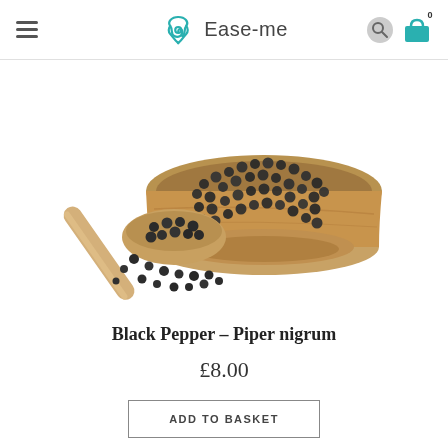Ease-me
[Figure (photo): A wooden bowl filled with black peppercorns and a wooden scoop with black peppercorns spilling out, on a white background.]
Black Pepper – Piper nigrum
£8.00
ADD TO BASKET